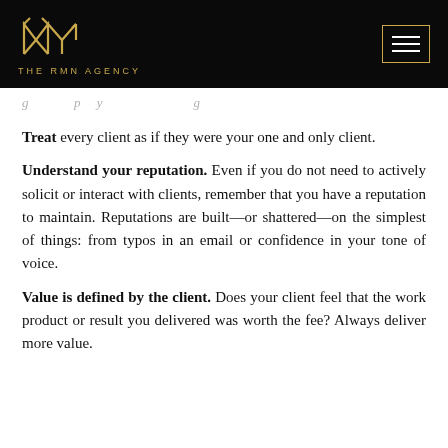THE RMN AGENCY
g p y g
Treat every client as if they were your one and only client.
Understand your reputation. Even if you do not need to actively solicit or interact with clients, remember that you have a reputation to maintain. Reputations are built—or shattered—on the simplest of things: from typos in an email or confidence in your tone of voice.
Value is defined by the client. Does your client feel that the work product or result you delivered was worth the fee? Always deliver more value.